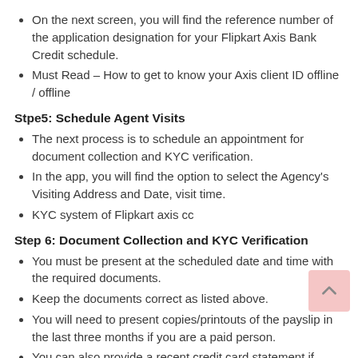On the next screen, you will find the reference number of the application designation for your Flipkart Axis Bank Credit schedule.
Must Read – How to get to know your Axis client ID offline / offline
Stpe5: Schedule Agent Visits
The next process is to schedule an appointment for document collection and KYC verification.
In the app, you will find the option to select the Agency's Visiting Address and Date, visit time.
KYC system of Flipkart axis cc
Step 6: Document Collection and KYC Verification
You must be present at the scheduled date and time with the required documents.
Keep the documents correct as listed above.
You will need to present copies/printouts of the payslip in the last three months if you are a paid person.
You can also provide a recent credit card statement if